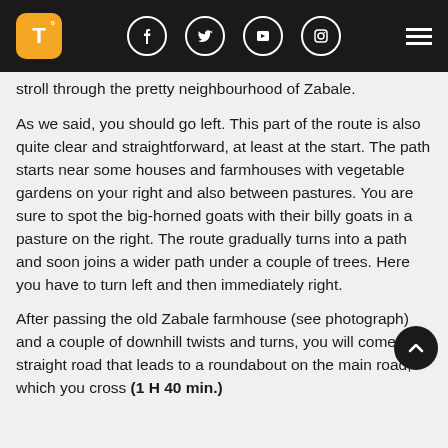T° [navigation bar with social icons and hamburger menu]
stroll through the pretty neighbourhood of Zabale.
As we said, you should go left. This part of the route is also quite clear and straightforward, at least at the start. The path starts near some houses and farmhouses with vegetable gardens on your right and also between pastures. You are sure to spot the big-horned goats with their billy goats in a pasture on the right. The route gradually turns into a path and soon joins a wider path under a couple of trees. Here you have to turn left and then immediately right.
After passing the old Zabale farmhouse (see photograph) and a couple of downhill twists and turns, you will come to a straight road that leads to a roundabout on the main road, which you cross (1 H 40 min.)